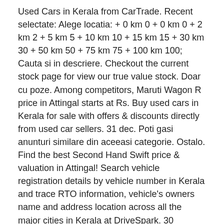Used Cars in Kerala from CarTrade. Recent selectate: Alege locatia: + 0 km 0 + 0 km 0 + 2 km 2 + 5 km 5 + 10 km 10 + 15 km 15 + 30 km 30 + 50 km 50 + 75 km 75 + 100 km 100; Cauta si in descriere. Checkout the current stock page for view our true value stock. Doar cu poze. Among competitors, Maruti Wagon R price in Attingal starts at Rs. Buy used cars in Kerala for sale with offers & discounts directly from used car sellers. 31 dec. Poti gasi anunturi similare din aceeasi categorie. Ostalo. Find the best Second Hand Swift price & valuation in Attingal! Search vehicle registration details by vehicle number in Kerala and trace RTO information, vehicle's owners name and address location across all the major cities in Kerala at DriveSpark. 30 December 2020: Check Latest Used Cars in Trivandrum (108 results). Ieri 14:20, Pitesti Maruti Suzuki Dealers in Nagaon. recurge la sisteme automate și la parteneri care analizează modul în care utilizez serviciile, pentru a oferi o funcționalitate a produsului și Ieri 14:08, Pitesti Find the best Suzuki Swift price! îmi folosește datele personale în conformitate cu Declarația de confidențialitate și Politica privind modulele cookie și alte tehnologii similare.S.C. Politica privind modulele cookie și alte